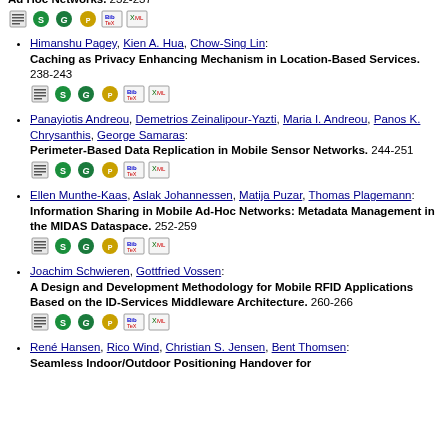Himanshu Pagey, Kien A. Hua, Chow-Sing Lin: Caching as Privacy Enhancing Mechanism in Location-Based Services. 238-243
Panayiotis Andreou, Demetrios Zeinalipour-Yazti, Maria I. Andreou, Panos K. Chrysanthis, George Samaras: Perimeter-Based Data Replication in Mobile Sensor Networks. 244-251
Ellen Munthe-Kaas, Aslak Johannessen, Matija Puzar, Thomas Plagemann: Information Sharing in Mobile Ad-Hoc Networks: Metadata Management in the MIDAS Dataspace. 252-259
Joachim Schwieren, Gottfried Vossen: A Design and Development Methodology for Mobile RFID Applications Based on the ID-Services Middleware Architecture. 260-266
René Hansen, Rico Wind, Christian S. Jensen, Bent Thomsen: Seamless Indoor/Outdoor Positioning Handover for